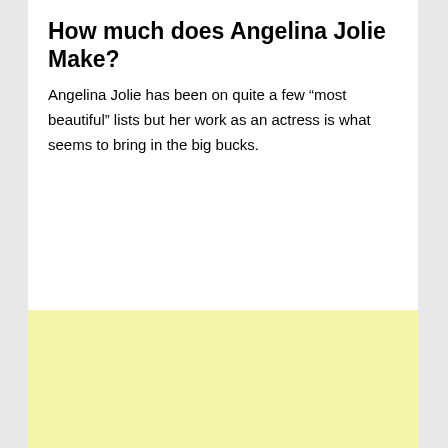How much does Angelina Jolie Make?
Angelina Jolie has been on quite a few “most beautiful” lists but her work as an actress is what seems to bring in the big bucks.
[Figure (other): Yellow/cream colored advertisement placeholder box]